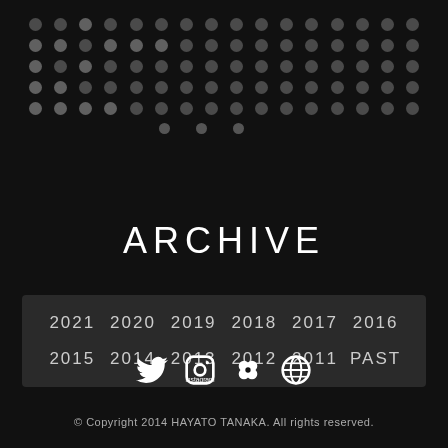[Figure (illustration): Decorative dot grid pattern arranged in rows forming a rectangular block, with dots in dark gray on black background]
ARCHIVE
| 2021 | 2020 | 2019 | 2018 | 2017 | 2016 |
| 2015 | 2014 | 2013 | 2012 | 2011 | PAST |
[Figure (illustration): Row of four social media icons: Twitter bird, Instagram, Hatena bookmark, and a globe-like icon]
© Copyright 2014 HAYATO TANAKA. All rights reserved.